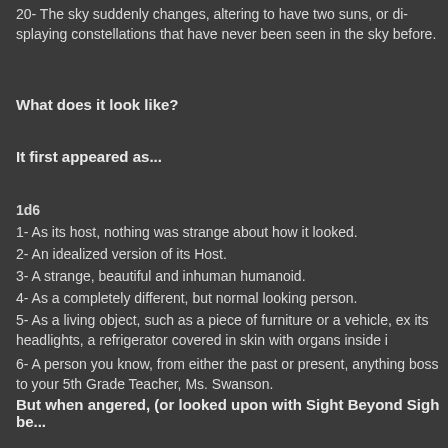20- The sky suddenly changes, altering to have two suns, or displaying constellations that have never been seen in the sky before.
What does it look like?
It first appeared as...
1d6
1- As its host, nothing was strange about how it looked.
2- An idealized version of its Host.
3- A strange, beautiful and inhuman humanoid.
4- As a completely different, but normal looking person.
5- As a living object, such as a piece of furniture or a vehicle, ex its headlights, a refrigerator covered in skin with organs inside i
6- A person you know, from either the past or present, anything boss to your 5th Grade Teacher, Ms. Swanson.
But when angered, (or looked upon with Sight Beyond Sigh be...
Generate a suitably freaky appearance here. This is also how t Beyond Sight, no matter what exterior form it takes.
How strong is it?